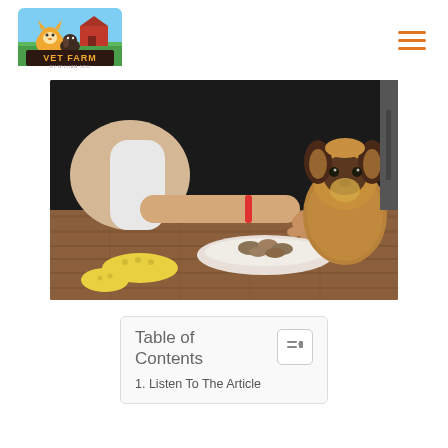[Figure (logo): Vet Farm by William Gou logo — cartoon corgi and dachshund with colorful farm background and text]
[Figure (photo): A person reaching toward a white bowl of food on a wooden floor, with a small Yorkshire Terrier dog watching from the right side]
| Table of Contents |
| 1. Listen To The Article |